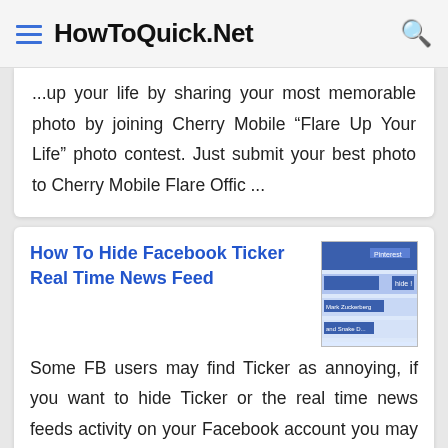HowToQuick.Net
...up your life by sharing your most memorable photo by joining Cherry Mobile “Flare Up Your Life” photo contest. Just submit your best photo to Cherry Mobile Flare Offic ...
How To Hide Facebook Ticker Real Time News Feed
[Figure (screenshot): Screenshot of Facebook Ticker/News Feed settings panel showing blue bars and hide button]
Some FB users may find Ticker as annoying, if you want to hide Ticker or the real time news feeds activity on your Facebook account you may follow steps this few steps on h ...